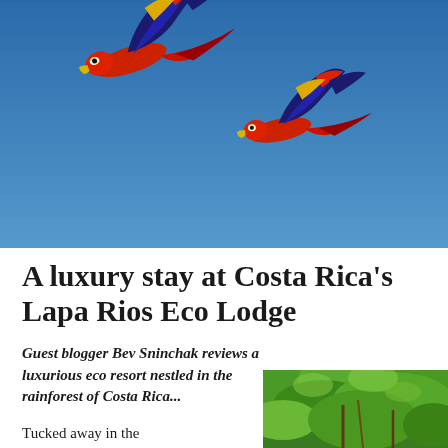[Figure (photo): Two scarlet macaws flying against a vivid blue sky, wings spread wide, showing red, blue, yellow plumage]
A luxury stay at Costa Rica's Lapa Rios Eco Lodge
Guest blogger Bev Sninchak reviews a luxurious eco resort nestled in the rainforest of Costa Rica...
Tucked away in the
[Figure (photo): Partial view of rainforest canopy with green foliage]